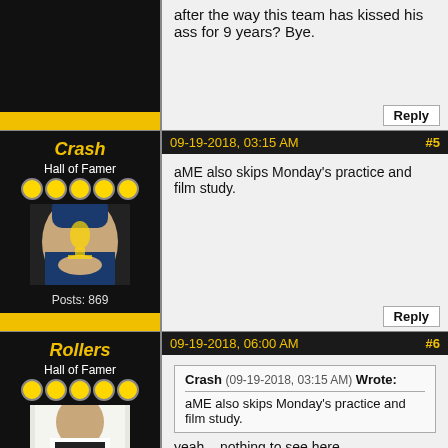after the way this team has kissed his ass for 9 years? Bye.
Reply
Crash
Hall of Famer
Posts: 869
Joined: May 2017
09-19-2018, 03:15 AM  #5
aME also skips Monday's practice and film study.
Reply
Rollers
Hall of Famer
Posts: 8,477
Joined: Apr 2017
09-19-2018, 06:00 AM  #6
Crash (09-19-2018, 03:15 AM) Wrote:
aME also skips Monday's practice and film study.
yeah... nothing to see here